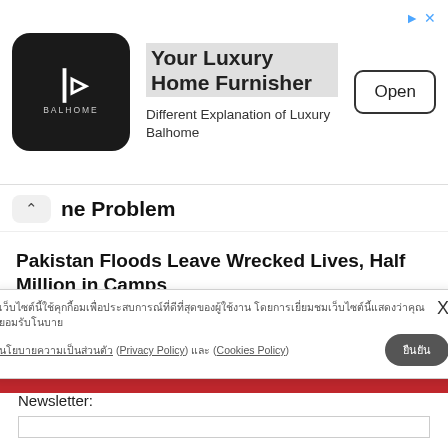[Figure (advertisement): Balhome luxury home furnisher ad banner with logo, tagline, and Open button]
ne Problem
Pakistan Floods Leave Wrecked Lives, Half Million in Camps
Pressure Group Asks Telecom Regulator to Stop
[Figure (other): Cookie consent popup with Thai text, Privacy Policy, Cookies Policy links and confirm button]
Opinion: Was the Temporary Suspension of PM Prayut, Good News, Bad News, Or a...
Ukrainian Fears Run High Over Fighting Near Nuclear Plant
GET KHAOSOD ENGLISH BY MAIL
Newsletter: